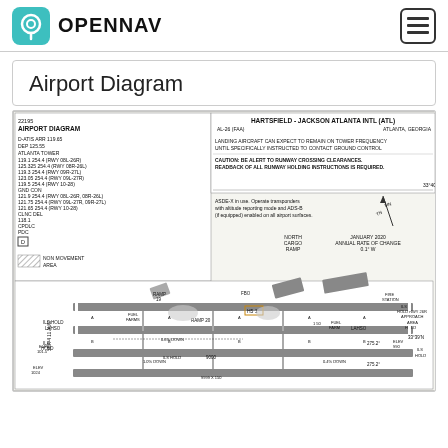OPENNAV
Airport Diagram
[Figure (engineering-diagram): Hartsfield-Jackson Atlanta International Airport (ATL) Airport Diagram AL-26 [FAA], Atlanta, Georgia. Shows runways, ramps, fuel farms, ILS holds, fire station, cargo ramps, frequencies, and navigational notes. January 2020, Annual Rate of Change 0.1 W.]